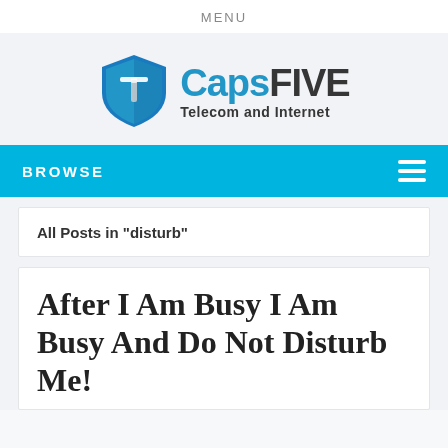MENU
[Figure (logo): CapsFIVE Telecom and Internet logo with shield icon]
BROWSE
All Posts in "disturb"
After I Am Busy I Am Busy And Do Not Disturb Me!